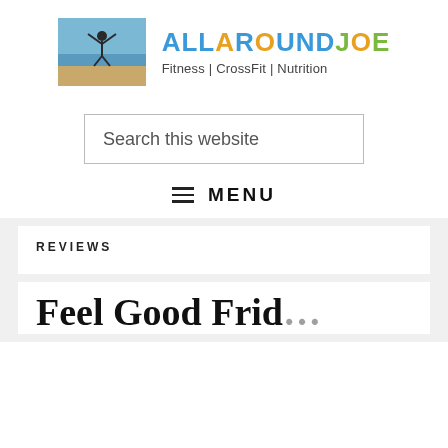[Figure (logo): AllAroundJoe website logo with person jumping on beach and colored text brand name with tagline Fitness | CrossFit | Nutrition]
Search this website
MENU
REVIEWS
Feel Good Frid…